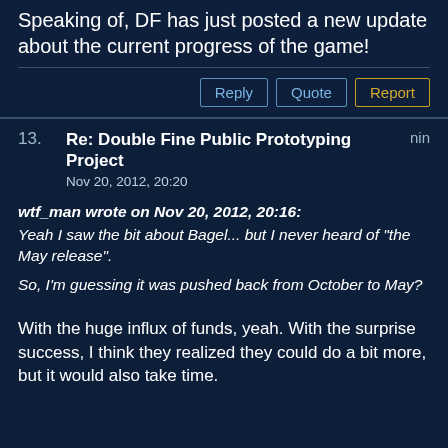Speaking of, DF has just posted a new update about the current progress of the game!
Reply | Quote | Report
13. Re: Double Fine Public Prototyping Project — nin
Nov 20, 2012, 20:20
wtf_man wrote on Nov 20, 2012, 20:16:
Yeah I saw the bit about Bagel... but I never heard of "the May release".

So, I'm guessing it was pushed back from October to May?
With the huge influx of funds, yeah. With the surprise success, I think they realized they could do a bit more, but it would also take time.